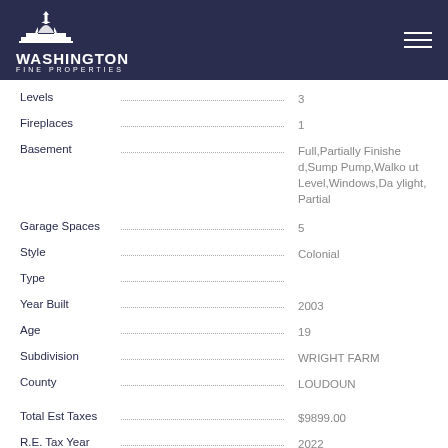[Figure (logo): Washington Fine Properties logo with Capitol dome icon on dark navy background]
| Field | Value |
| --- | --- |
| Levels | 3 |
| Fireplaces | 1 |
| Basement | Full,Partially Finished,Sump Pump,Walkout Level,Windows,Daylight, Partial |
| Garage Spaces | 5 |
| Style | Colonial |
| Type |  |
| Year Built | 2003 |
| Age | 19 |
| Subdivision | WRIGHT FARM |
| County | LOUDOUN |
| Total Est Taxes | $9899.00 |
| R.E. Tax Year | 2022 |